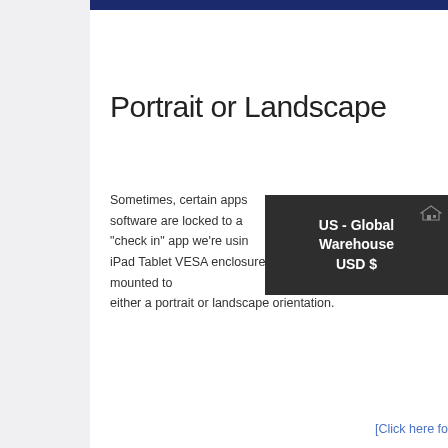Portrait or Landscape
Sometimes, certain apps software are locked to a "check in" app we're using iPad Tablet VESA enclosures can be mounted to either a portrait or landscape orientation.
[Figure (infographic): Dark popup overlay showing 'US - Global Warehouse USD $' with a small house/warehouse icon in the top right corner.]
[Click here fo